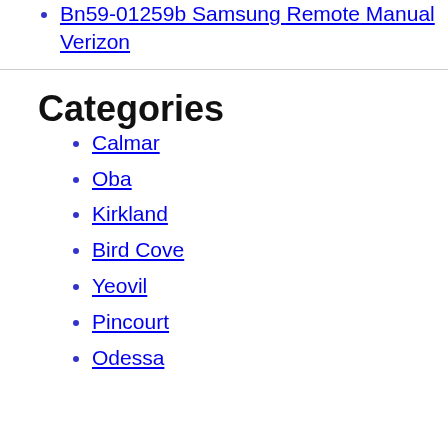Bn59-01259b Samsung Remote Manual Verizon
Categories
Calmar
Oba
Kirkland
Bird Cove
Yeovil
Pincourt
Odessa